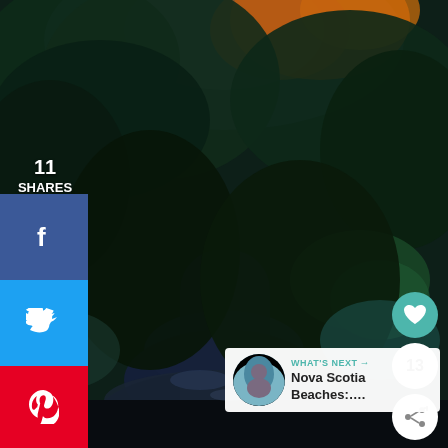[Figure (photo): Dark forest scene with a stream or river running through lush green and autumn-colored trees, reflected water in the foreground. Very dark and moody tones with deep blue, green, and some orange/red foliage at the top.]
11
SHARES
[Figure (infographic): Facebook share button - dark blue square with white 'f' icon]
[Figure (infographic): Twitter share button - light blue square with white bird/tweet icon]
[Figure (infographic): Pinterest share button - red square with white 'p' pin icon]
[Figure (infographic): Teal heart/like button circle on right side]
13
[Figure (infographic): Share icon circle button (white circle with share/network icon)]
WHAT'S NEXT → Nova Scotia Beaches:....